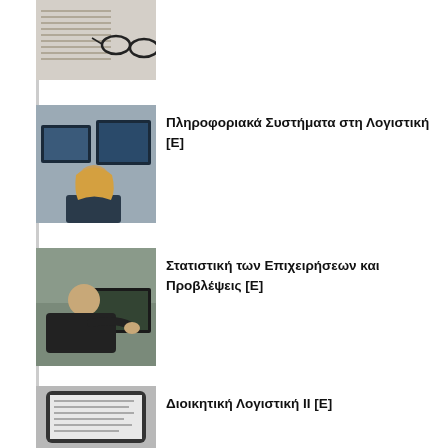[Figure (photo): Partial view of spreadsheet with glasses resting on documents]
[Figure (photo): Woman with blonde hair sitting at computer workstation looking at screens]
Πληροφοριακά Συστήματα στη Λογιστική [Ε]
[Figure (photo): Man in dark shirt leaning over and working at a computer]
Στατιστική των Επιχειρήσεων και Προβλέψεις [Ε]
[Figure (photo): Tablet device with text visible on screen, resting on dark surface]
Διοικητική Λογιστική ΙΙ [Ε]